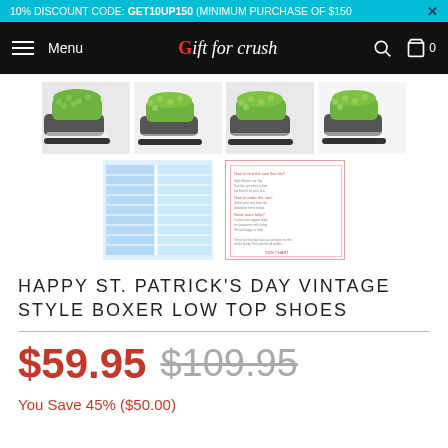10% DISCOUNT CODE: GET10UP150 (MINIMUM PURCHASE OF $150)
Menu | Gift for crush | 0
[Figure (photo): Four product thumbnail images of green St. Patrick's Day sneakers from different angles]
[Figure (photo): Size chart grid image and product info card image]
HAPPY ST. PATRICK'S DAY VINTAGE STYLE BOXER LOW TOP SHOES
$59.95 $109.95
You Save 45% ($50.00)